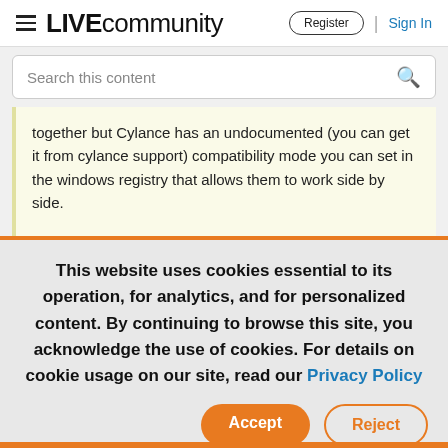LIVE community | Register | Sign In
Search this content
together but Cylance has an undocumented (you can get it from cylance support) compatibility mode you can set in the windows registry that allows them to work side by side.
This website uses cookies essential to its operation, for analytics, and for personalized content. By continuing to browse this site, you acknowledge the use of cookies. For details on cookie usage on our site, read our Privacy Policy